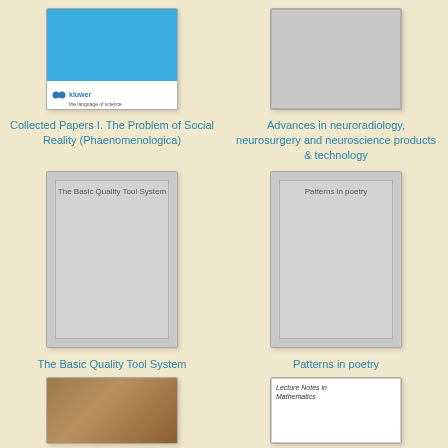[Figure (illustration): Book cover with blue top section and Kluwer publisher logo at bottom on white strip]
Collected Papers I. The Problem of Social Reality (Phaenomenologica)
[Figure (illustration): Gray placeholder book cover]
Advances in neuroradiology, neurosurgery and neuroscience products & technology
[Figure (illustration): Gray placeholder book cover tall with inner frame and text 'The Basic Quality Tool System']
The Basic Quality Tool System
[Figure (illustration): Gray placeholder book cover tall with inner frame and text 'Patterns in poetry']
Patterns in poetry
[Figure (illustration): Brown aged book cover at bottom left]
[Figure (illustration): Lecture Notes in Mathematics book cover at bottom right]